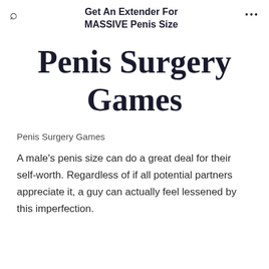Get An Extender For MASSIVE Penis Size
Penis Surgery Games
Penis Surgery Games
A male's penis size can do a great deal for their self-worth. Regardless of if all potential partners appreciate it, a guy can actually feel lessened by this imperfection.